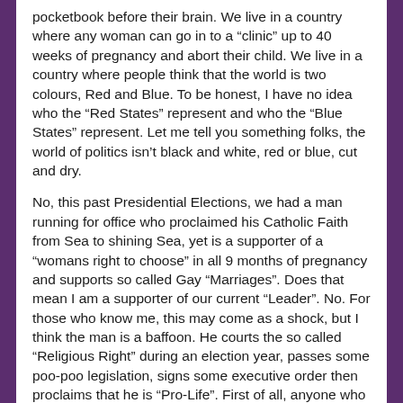pocketbook before their brain. We live in a country where any woman can go in to a “clinic” up to 40 weeks of pregnancy and abort their child. We live in a country where people think that the world is two colours, Red and Blue. To be honest, I have no idea who the “Red States” represent and who the “Blue States” represent. Let me tell you something folks, the world of politics isn’t black and white, red or blue, cut and dry.
No, this past Presidential Elections, we had a man running for office who proclaimed his Catholic Faith from Sea to shining Sea, yet is a supporter of a “womans right to choose” in all 9 months of pregnancy and supports so called Gay “Marriages”. Does that mean I am a supporter of our current “Leader”. No. For those who know me, this may come as a shock, but I think the man is a baffoon. He courts the so called “Religious Right” during an election year, passes some poo-poo legislation, signs some executive order then proclaims that he is “Pro-Life”. First of all, anyone who supports the death penelty cannot not pro-life. Hey bring it on, I will take this argument on any day of the week. No matter how evil no matter how awful the crime, one man cannot take the life of another man.
Our country has bought in to the lie. The lie that abortion is a